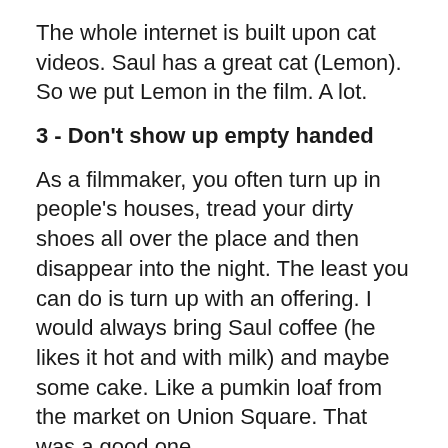The whole internet is built upon cat videos. Saul has a great cat (Lemon). So we put Lemon in the film. A lot.
3 - Don't show up empty handed
As a filmmaker, you often turn up in people's houses, tread your dirty shoes all over the place and then disappear into the night. The least you can do is turn up with an offering. I would always bring Saul coffee (he likes it hot and with milk) and maybe some cake. Like a pumkin loaf from the market on Union Square. That was a good one.
4 - Don't drink wine at lunch time
Saul once tempted me with a glass of wine at lunch time. It made me drowsy in the heat.
5 - Show the work